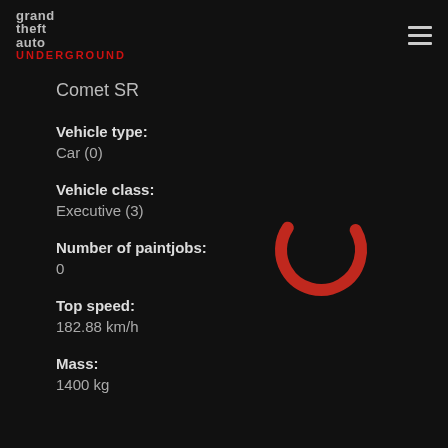grand theft auto UNDERGROUND
Comet SR
Vehicle type:
Car (0)
Vehicle class:
Executive (3)
Number of paintjobs:
0
[Figure (other): Red circular loading spinner]
Top speed:
182.88 km/h
Mass:
1400 kg